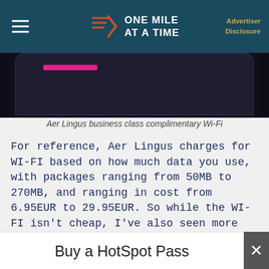ONE MILE AT A TIME | Advertiser Disclosure
[Figure (photo): Aer Lingus business class complimentary Wi-Fi — smartphone/tablet showing screen, dark background]
Aer Lingus business class complimentary Wi-Fi
For reference, Aer Lingus charges for WI-FI based on how much data you use, with packages ranging from 50MB to 270MB, and ranging in cost from 6.95EUR to 29.95EUR. So while the WI-FI isn't cheap, I've also seen more expensive.
Advertisement | OMAAT continues below
Buy a HotSpot Pass